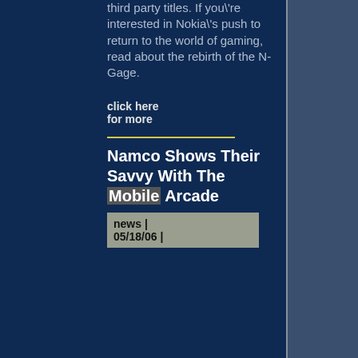third party titles. If you're interested in Nokia's push to return to the world of gaming, read about the rebirth of the N-Gage.
click here for more
Namco Shows Their Savvy With The Mobile Arcade
news | 05/18/06 |